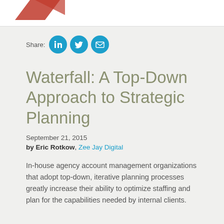[Figure (illustration): Top portion of a document page showing a partial red logo/graphic on a white background bar]
Share:
[Figure (other): Social sharing icons: LinkedIn, Twitter, Email — all in teal/cyan circles]
Waterfall: A Top-Down Approach to Strategic Planning
September 21, 2015
by Eric Rotkow, Zee Jay Digital
In-house agency account management organizations that adopt top-down, iterative planning processes greatly increase their ability to optimize staffing and plan for the capabilities needed by internal clients.